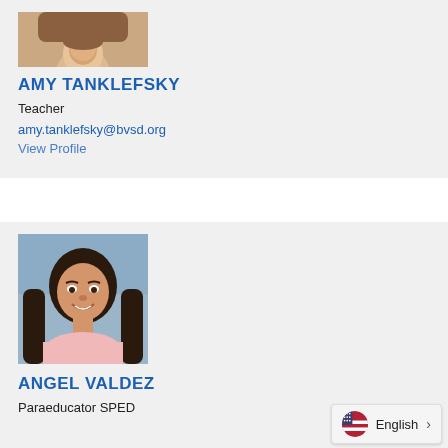[Figure (photo): Partial photo of Amy Tanklefsky at top of card, cropped]
AMY TANKLEFSKY
Teacher
amy.tanklefsky@bvsd.org
View Profile
[Figure (photo): Portrait photo of Angel Valdez, a young woman with long dark hair, smiling, wearing a light pink top, blue background]
ANGEL VALDEZ
Paraeducator SPED
English